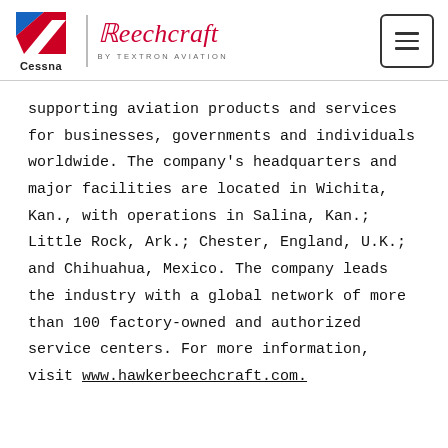Cessna | Beechcraft BY TEXTRON AVIATION
supporting aviation products and services for businesses, governments and individuals worldwide. The company's headquarters and major facilities are located in Wichita, Kan., with operations in Salina, Kan.; Little Rock, Ark.; Chester, England, U.K.; and Chihuahua, Mexico. The company leads the industry with a global network of more than 100 factory-owned and authorized service centers. For more information, visit www.hawkerbeechcraft.com.